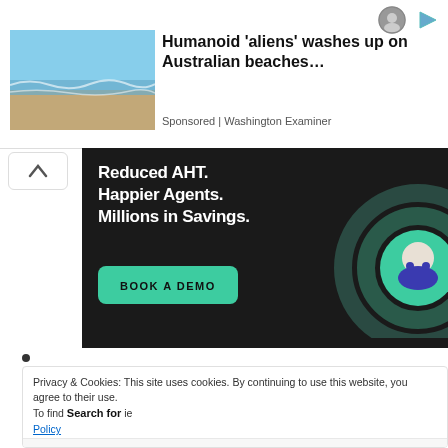[Figure (screenshot): Top-right icons: person/avatar icon and play button icon (ad indicators)]
[Figure (photo): Beach scene with ocean waves and sandy shore under blue sky]
Humanoid 'aliens' washes up on Australian beaches…
Sponsored | Washington Examiner
[Figure (infographic): Dark advertisement banner: 'Reduced AHT. Happier Agents. Millions in Savings.' with a BOOK A DEMO button and a customer service agent illustration]
Privacy & Cookies: This site uses cookies. By continuing to use this website, you agree to their use.
To find out more, including how to control cookies, see here: Cookie Policy
Search for
1   10 Best Smartwatches
2   Best Smartwatches For Seniors
Yahoo! Search | Sponsored